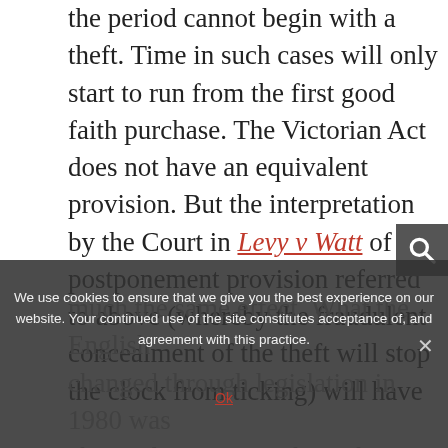the period cannot begin with a theft. Time in such cases will only start to run from the first good faith purchase. The Victorian Act does not have an equivalent provision. But the interpretation by the Court in Levy v Watt of the postponement provision referred to above (whereby the fraudulent concealment of the theft will stop the clock from ticking) will have much the same effect. What the English changed through legislation in 1980 was changed in Victoria through judicial decision making, such that time will
We use cookies to ensure that we give you the best experience on our website. Your continued use of the site constitutes acceptance of, and agreement with this practice.
Ok